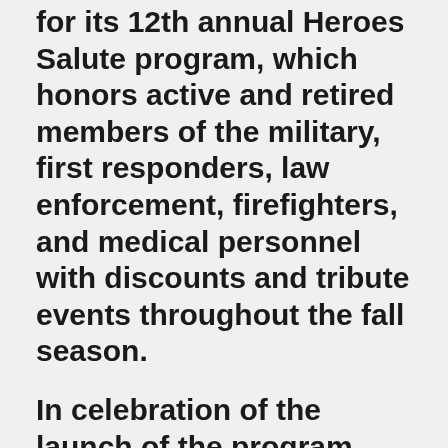for its 12th annual Heroes Salute program, which honors active and retired members of the military, first responders, law enforcement, firefighters, and medical personnel with discounts and tribute events throughout the fall season.
In celebration of the launch of the program, the resort is recognizing all heroes, especially those working on the frontlines of the COVID-19 pandemic, by giving away a series of two-night stays for two.
The highlight of the seasonal Heroes Salute program, which runs from August 1 through December 20, 2020, is the weekly tribute event for heroes staying at the resort that takes place every Saturday night. The ceremony includes a video presentation with photos provided by guests of their heroes whether still active, retired, or fallen